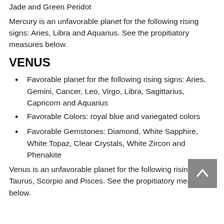Jade and Green Peridot
Mercury is an unfavorable planet for the following rising signs: Aries, Libra and Aquarius. See the propitiatory measures below.
VENUS
Favorable planet for the following rising signs: Aries, Gemini, Cancer, Leo, Virgo, Libra, Sagittarius, Capricorn and Aquarius
Favorable Colors: royal blue and variegated colors
Favorable Gemstones: Diamond, White Sapphire, White Topaz, Clear Crystals, White Zircon and Phenakite
Venus is an unfavorable planet for the following rising signs: Taurus, Scorpio and Pisces. See the propitiatory measures below.